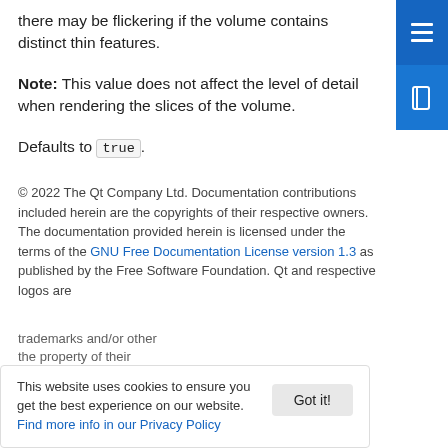there may be flickering if the volume contains distinct thin features.
Note: This value does not affect the level of detail when rendering the slices of the volume.
Defaults to true.
© 2022 The Qt Company Ltd. Documentation contributions included herein are the copyrights of their respective owners. The documentation provided herein is licensed under the terms of the GNU Free Documentation License version 1.3 as published by the Free Software Foundation. Qt and respective logos are [trademarks] and/or other [marks and are] the property of their [respective owners].
This website uses cookies to ensure you get the best experience on our website. Find more info in our Privacy Policy